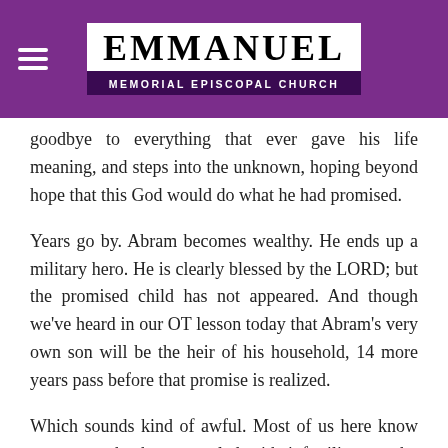EMMANUEL MEMORIAL EPISCOPAL CHURCH
goodbye to everything that ever gave his life meaning, and steps into the unknown, hoping beyond hope that this God would do what he had promised.
Years go by. Abram becomes wealthy. He ends up a military hero. He is clearly blessed by the LORD; but the promised child has not appeared. And though we've heard in our OT lesson today that Abram's very own son will be the heir of his household, 14 more years pass before that promise is realized.
Which sounds kind of awful. Most of us here know someone who has struggled with infertility or who has had an adoption fall through last-minute. Waiting for the test results or the court date can be excruciating. Now imagine that going on for roughly two